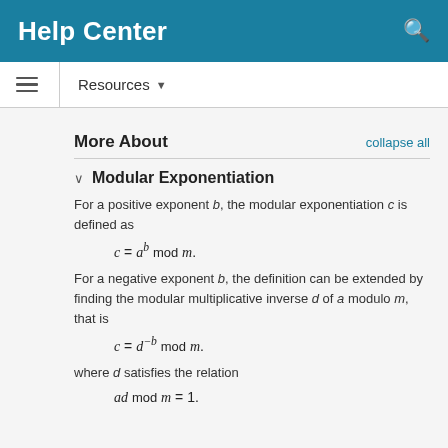Help Center
Resources ▾
More About
Modular Exponentiation
For a positive exponent b, the modular exponentiation c is defined as
For a negative exponent b, the definition can be extended by finding the modular multiplicative inverse d of a modulo m, that is
where d satisfies the relation